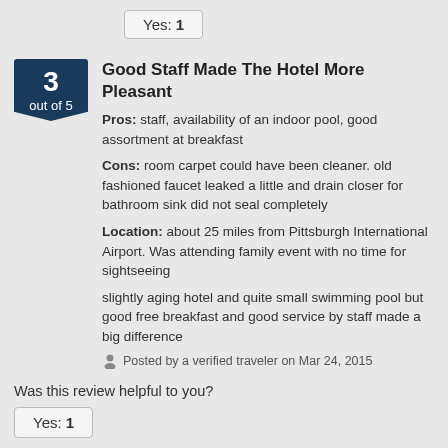Yes: 1
Good Staff Made The Hotel More Pleasant
Pros: staff, availability of an indoor pool, good assortment at breakfast
Cons: room carpet could have been cleaner. old fashioned faucet leaked a little and drain closer for bathroom sink did not seal completely
Location: about 25 miles from Pittsburgh International Airport. Was attending family event with no time for sightseeing
slightly aging hotel and quite small swimming pool but good free breakfast and good service by staff made a big difference
Posted by a verified traveler on Mar 24, 2015
Was this review helpful to you?
Yes: 1